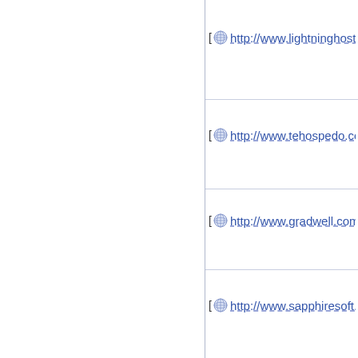[ http://www.lightninghosts.
[ http://www.tehospedo.com
[ http://www.gradwell.com/
[ http://www.sapphiresoft.c
[ http://www.xennos.com/ X
[ http://www.hostm.com/ Ho
[ http://www.europeanserve - France]
[ http://www.anchor.net.au
[ http://www.quadrahosting